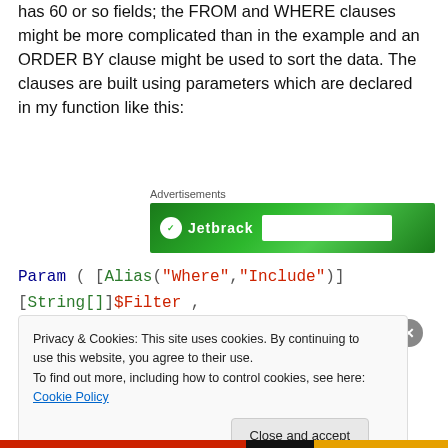has 60 or so fields; the FROM and WHERE clauses might be more complicated than in the example and an ORDER BY clause might be used to sort the data. The clauses are built using parameters which are declared in my function like this:
[Figure (other): Advertisement banner with green background and Jetbrains-style logo]
Param ( [Alias("Where","Include")] [String[]]$Filter ,
Privacy & Cookies: This site uses cookies. By continuing to use this website, you agree to their use. To find out more, including how to control cookies, see here: Cookie Policy